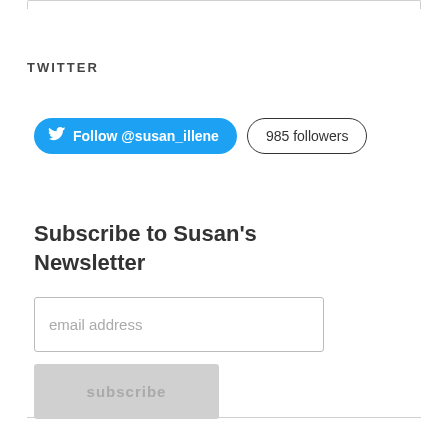TWITTER
[Figure (screenshot): Twitter follow button for @susan_illene with '985 followers' badge]
Subscribe to Susan's Newsletter
[Figure (screenshot): Email address input field with placeholder text 'email address' and a Subscribe button below]